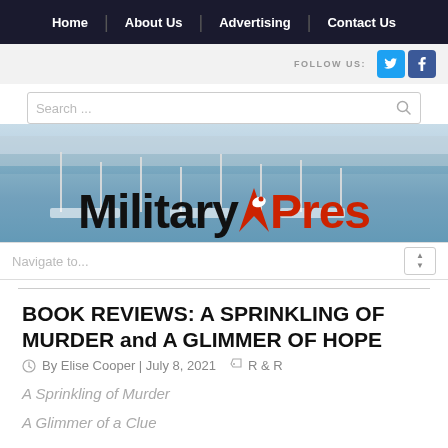Home | About Us | Advertising | Contact Us
[Figure (screenshot): MilitaryPress website header with search bar, marina background image, and MilitaryPress logo]
BOOK REVIEWS: A SPRINKLING OF MURDER and A GLIMMER OF HOPE
By Elise Cooper | July 8, 2021   R & R
A Sprinkling of Murder
A Glimmer of a Clue